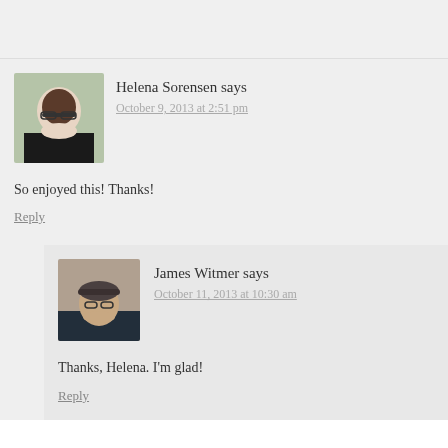Helena Sorensen says
October 9, 2013 at 2:51 pm
So enjoyed this! Thanks!
Reply
James Witmer says
October 11, 2013 at 10:30 am
Thanks, Helena. I'm glad!
Reply